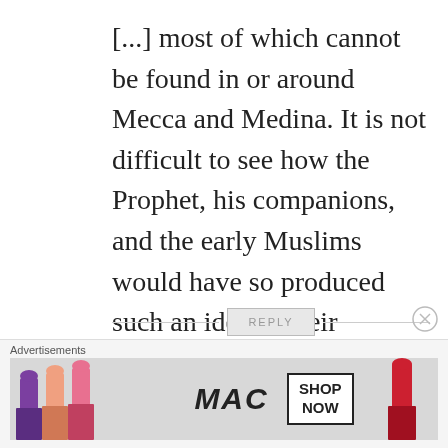[...] most of which cannot be found in or around Mecca and Medina. It is not difficult to see how the Prophet, his companions, and the early Muslims would have so produced such an idea in their unforgiving [...]
REPLY
[Figure (photo): Circular avatar photo of a young man wearing a dark knit beanie, looking at camera, outdoors urban background]
John Hick – An Inclusive Religious Pluralism in World
Advertisements
[Figure (illustration): MAC cosmetics advertisement showing lipsticks in purple, peach, pink colors on left and right, MAC logo in center, SHOP NOW box]